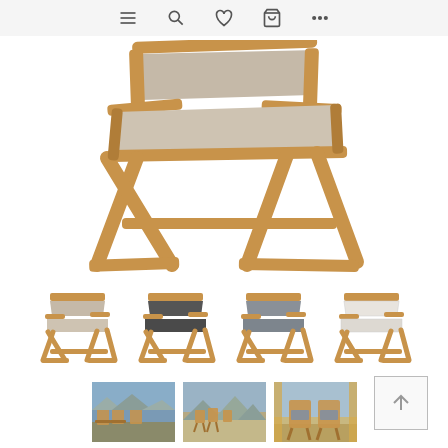[Figure (screenshot): E-commerce product page showing a folding director-style armchair with teak wood frame and beige/taupe fabric sling seat and back. Navigation bar at top with menu, search, heart, cart, and more icons. Main large product image of chair from side/above angle. Four color variant thumbnails below (beige, dark gray, gray, white). Three scene/lifestyle photo thumbnails at bottom. Back-to-top arrow button at bottom right.]